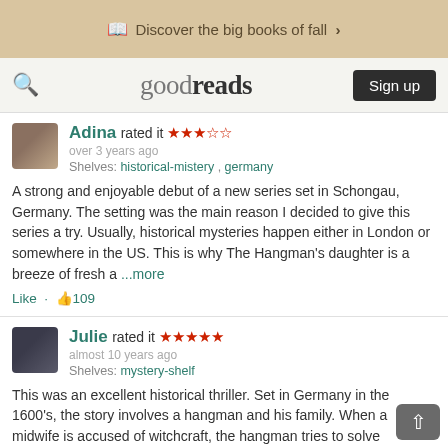Discover the big books of fall >
goodreads Sign up
Adina rated it ★★★☆☆ over 3 years ago Shelves: historical-mistery , germany
A strong and enjoyable debut of a new series set in Schongau, Germany. The setting was the main reason I decided to give this series a try. Usually, historical mysteries happen either in London or somewhere in the US. This is why The Hangman's daughter is a breeze of fresh a ...more
Like · 👍109
Julie rated it ★★★★★ almost 10 years ago Shelves: mystery-shelf
This was an excellent historical thriller. Set in Germany in the 1600's, the story involves a hangman and his family. When a midwife is accused of witchcraft, the hangman tries to solve